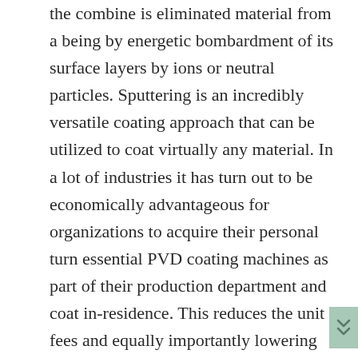the combine is eliminated material from a being by energetic bombardment of its surface layers by ions or neutral particles. Sputtering is an incredibly versatile coating approach that can be utilized to coat virtually any material. In a lot of industries it has turn out to be economically advantageous for organizations to acquire their personal turn essential PVD coating machines as part of their production department and coat in-residence. This reduces the unit fees and equally importantly lowering turnaround times. The RTAS machines equipped with circular arc and cylinder sputtering deposition sources. Numerous combinations of DC sputtering, MF sputtering, arc evaporation and Ion supply and